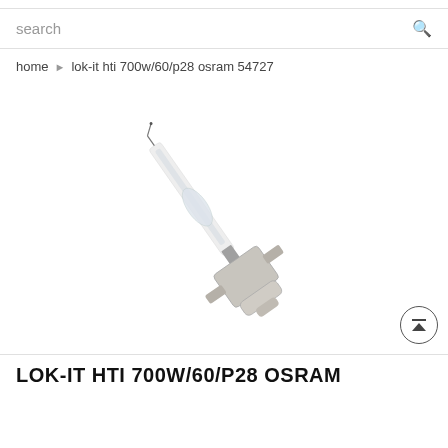search
home ▶ lok-it hti 700w/60/p28 osram 54727
[Figure (photo): Product photo of a HTI 700W/60/P28 discharge lamp bulb with P28 base, shown at an angle against a white background.]
LOK-IT HTI 700W/60/P28 OSRAM